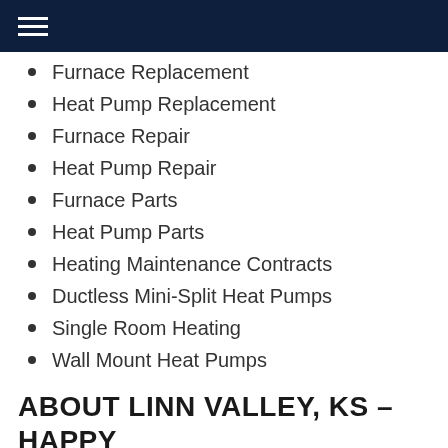☰
Furnace Replacement
Heat Pump Replacement
Furnace Repair
Heat Pump Repair
Furnace Parts
Heat Pump Parts
Heating Maintenance Contracts
Ductless Mini-Split Heat Pumps
Single Room Heating
Wall Mount Heat Pumps
ABOUT LINN VALLEY, KS – HAPPY
We use cookies to ensure that we give you the best experience on our website. If you continue to use this site we will assume that you are happy with it.